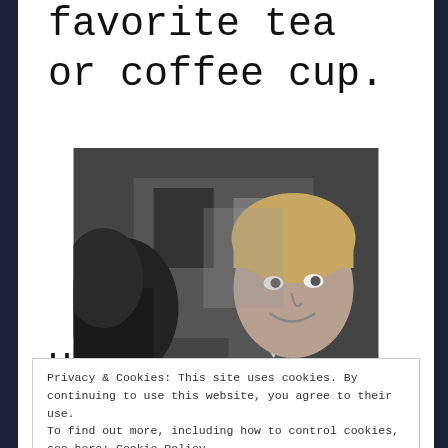favorite tea or coffee cup.
[Figure (photo): Black and white photo of a smiling man in a suit jacket, with dark hair, looking to his right. Another person is partially visible on the left side of the frame.]
Privacy & Cookies: This site uses cookies. By continuing to use this website, you agree to their use.
To find out more, including how to control cookies, see here: Cookie Policy
However, I'll like to